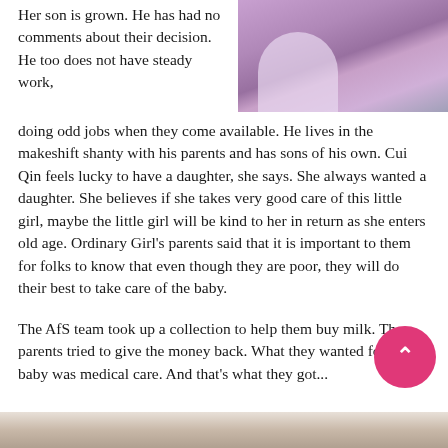[Figure (photo): Photo of a woman in purple/pink top holding or near a baby, cropped at top right of page]
Her son is grown. He has had no comments about their decision. He too does not have steady work, doing odd jobs when they come available. He lives in the makeshift shanty with his parents and has sons of his own. Cui Qin feels lucky to have a daughter, she says. She always wanted a daughter. She believes if she takes very good care of this little girl, maybe the little girl will be kind to her in return as she enters old age. Ordinary Girl’s parents said that it is important to them for folks to know that even though they are poor, they will do their best to take care of the baby.
The AfS team took up a collection to help them buy milk. The parents tried to give the money back. What they wanted for the baby was medical care. And that’s what they got...
[Figure (photo): Partial photo visible at the very bottom of the page, showing faces/people, cropped]